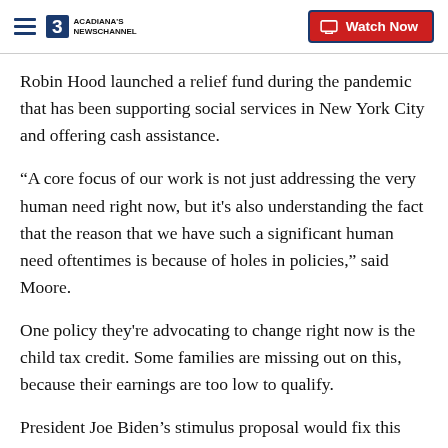Acadiana's Newschannel — Watch Now
Robin Hood launched a relief fund during the pandemic that has been supporting social services in New York City and offering cash assistance.
“A core focus of our work is not just addressing the very human need right now, but it's also understanding the fact that the reason that we have such a significant human need oftentimes is because of holes in policies,” said Moore.
One policy they're advocating to change right now is the child tax credit. Some families are missing out on this, because their earnings are too low to qualify.
President Joe Biden’s stimulus proposal would fix this